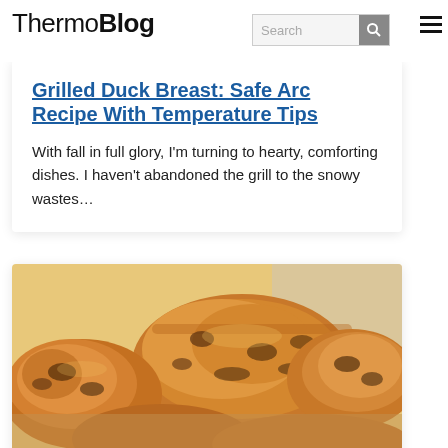ThermoBlog
Grilled Duck Breast: Safe Arc Recipe With Temperature Tips
With fall in full glory, I'm turning to hearty, comforting dishes. I haven't abandoned the grill to the snowy wastes…
[Figure (photo): Close-up photo of seasoned grilled chicken or duck pieces on a baking tray, showing golden-brown spiced crust]